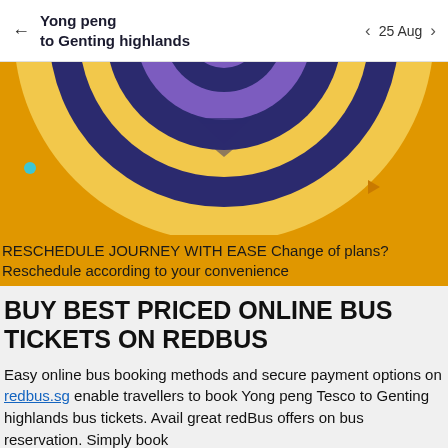Yong peng to Genting highlands  ← 25 Aug →
[Figure (illustration): Orange banner with circular concentric target/shield illustration in dark navy, light tan/yellow, and purple/violet tones on an amber/orange background. Small teal dot on left, small orange play triangle on right.]
RESCHEDULE JOURNEY WITH EASE Change of plans? Reschedule according to your convenience
BUY BEST PRICED ONLINE BUS TICKETS ON REDBUS
Easy online bus booking methods and secure payment options on redbus.sg enable travellers to book Yong peng Tesco to Genting highlands bus tickets. Avail great redBus offers on bus reservation. Simply book